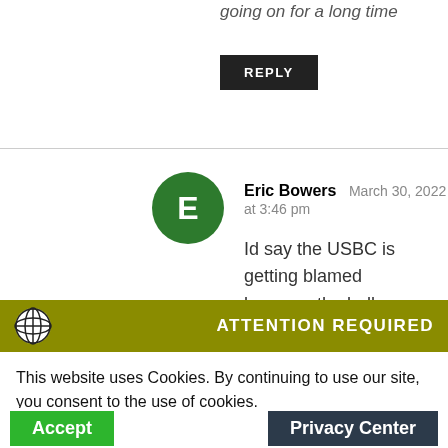going on for a long time
REPLY
Eric Bowers  March 30, 2022 at 3:46 pm
Id say the USBC is getting blamed because the balls were already approved for months so why the change? Thats likely why it seems
ATTENTION REQUIRED
This website uses Cookies. By continuing to use our site, you consent to the use of cookies.
Accept
Privacy Center
yoshidaeh  March 30, 2022 at 8:16 pm